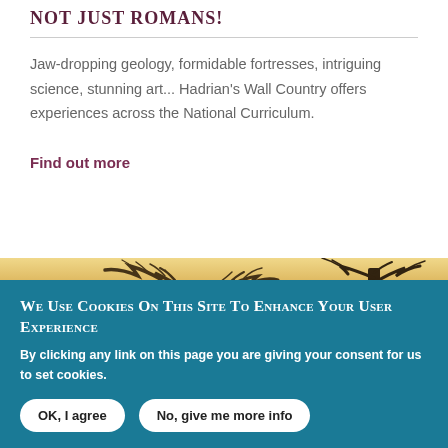Not Just Romans!
Jaw-dropping geology, formidable fortresses, intriguing science, stunning art... Hadrian's Wall Country offers experiences across the National Curriculum.
Find out more
[Figure (photo): Silhouette of bare winter trees against a warm golden-amber sky, landscape orientation]
We use cookies on this site to enhance your user experience
By clicking any link on this page you are giving your consent for us to set cookies.
OK, I agree | No, give me more info